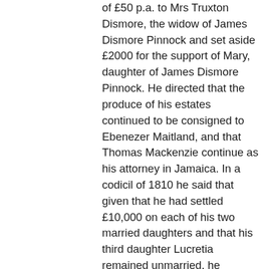of £50 p.a. to Mrs Truxton Dismore, the widow of James Dismore Pinnock and set aside £2000 for the support of Mary, daughter of James Dismore Pinnock. He directed that the produce of his estates continued to be consigned to Ebenezer Maitland, and that Thomas Mackenzie continue as his attorney in Jamaica. In a codicil of 1810 he said that given that he had settled £10,000 on each of his two married daughters and that his third daughter Lucretia remained unmarried, he provided her £4000. In a further codicil of January 1811 he made Ebenezer Maitland one of his trustees (the others included Matthew 'Monk' Lewis, q.v.).
3.
Two of his daughters had married into the Scott family: Elizabeth Favell married